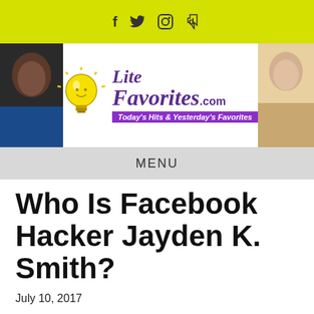Social icons: f (Facebook), bird (Twitter), circle (Instagram), d (TikTok)
[Figure (logo): LiteFavorites.com logo with lightbulb icon, tagline: Today's Hits & Yesterday's Favorites, two celebrity photos on sides]
MENU
Who Is Facebook Hacker Jayden K. Smith?
July 10, 2017
SHARE THIS